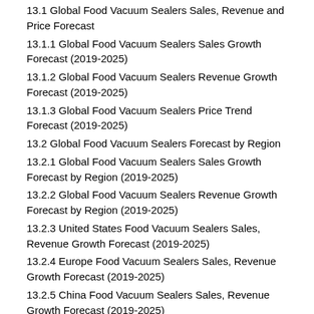13.1 Global Food Vacuum Sealers Sales, Revenue and Price Forecast
13.1.1 Global Food Vacuum Sealers Sales Growth Forecast (2019-2025)
13.1.2 Global Food Vacuum Sealers Revenue Growth Forecast (2019-2025)
13.1.3 Global Food Vacuum Sealers Price Trend Forecast (2019-2025)
13.2 Global Food Vacuum Sealers Forecast by Region
13.2.1 Global Food Vacuum Sealers Sales Growth Forecast by Region (2019-2025)
13.2.2 Global Food Vacuum Sealers Revenue Growth Forecast by Region (2019-2025)
13.2.3 United States Food Vacuum Sealers Sales, Revenue Growth Forecast (2019-2025)
13.2.4 Europe Food Vacuum Sealers Sales, Revenue Growth Forecast (2019-2025)
13.2.5 China Food Vacuum Sealers Sales, Revenue Growth Forecast (2019-2025)
13.2.6 Japan Food Vacuum Sealers Sales, Revenue Growth Forecast (2019-2025)